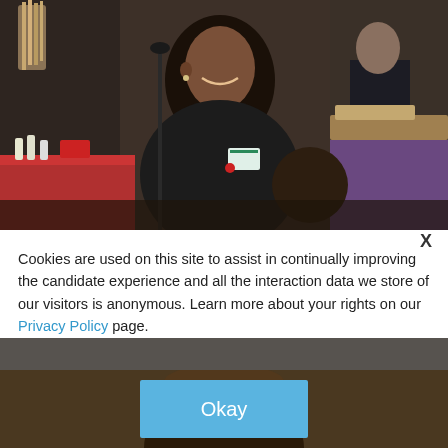[Figure (photo): A smiling woman wearing a dark jacket with a name badge at what appears to be an event or meeting. In the background, there are people seated at tables, wooden utensils in a container, and red tablecloths.]
Office Manager
View...
Cookies are used on this site to assist in continually improving the candidate experience and all the interaction data we store of our visitors is anonymous. Learn more about your rights on our Privacy Policy page.
[Figure (photo): Partial view of a person's face, showing eyes and forehead against a dark brownish background.]
Okay